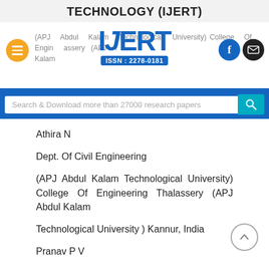TECHNOLOGY (IJERT)
[Figure (logo): IJERT logo with ISSN: 2278-0181, hamburger menu button, Facebook and email icons, and text: (APJ Abdul Kalam Technological University) College Of Engineering Thalassery (APJ Abdul Kalam]
Search & Download more than 27000 research papers
Athira N
Dept. Of Civil Engineering
(APJ Abdul Kalam Technological University) College Of Engineering Thalassery (APJ Abdul Kalam
Technological University ) Kannur, India
Pranav P V